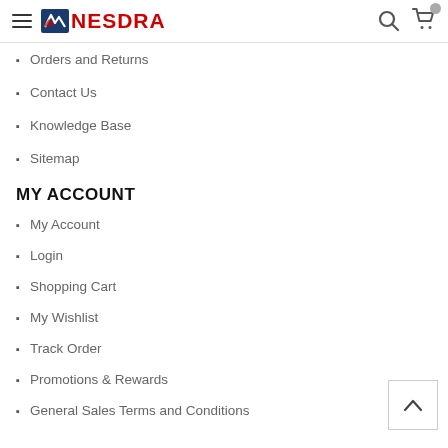NESDRA — navigation header with hamburger menu, logo, search icon, cart icon
Orders and Returns
Contact Us
Knowledge Base
Sitemap
MY ACCOUNT
My Account
Login
Shopping Cart
My Wishlist
Track Order
Promotions & Rewards
General Sales Terms and Conditions